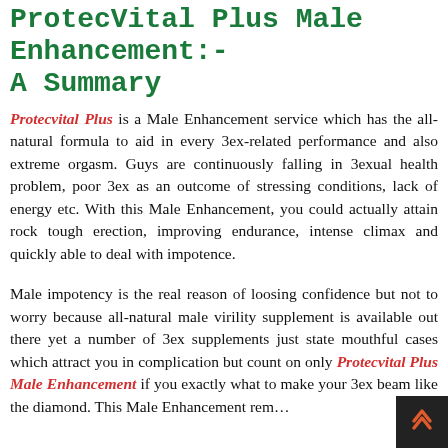ProtecVital Plus Male Enhancement:- A Summary
Protecvital Plus is a Male Enhancement service which has the all-natural formula to aid in every 3ex-related performance and also extreme orgasm. Guys are continuously falling in 3exual health problem, poor 3ex as an outcome of stressing conditions, lack of energy etc. With this Male Enhancement, you could actually attain rock tough erection, improving endurance, intense climax and quickly able to deal with impotence.
Male impotency is the real reason of loosing confidence but not to worry because all-natural male virility supplement is available out there yet a number of 3ex supplements just state mouthful cases which attract you in complication but count on only Protecvital Plus Male Enhancement if you exactly what to make your 3ex beam like the diamond. This Male Enhancement rem… …ory with nutrition al and …